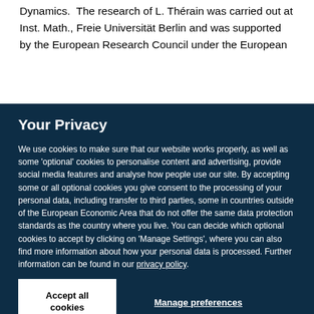Dynamics. The research of L. Thérain was carried out at Inst. Math., Freie Universität Berlin and was supported by the European Research Council under the European
Your Privacy
We use cookies to make sure that our website works properly, as well as some 'optional' cookies to personalise content and advertising, provide social media features and analyse how people use our site. By accepting some or all optional cookies you give consent to the processing of your personal data, including transfer to third parties, some in countries outside of the European Economic Area that do not offer the same data protection standards as the country where you live. You can decide which optional cookies to accept by clicking on 'Manage Settings', where you can also find more information about how your personal data is processed. Further information can be found in our privacy policy.
Accept all cookies
Manage preferences